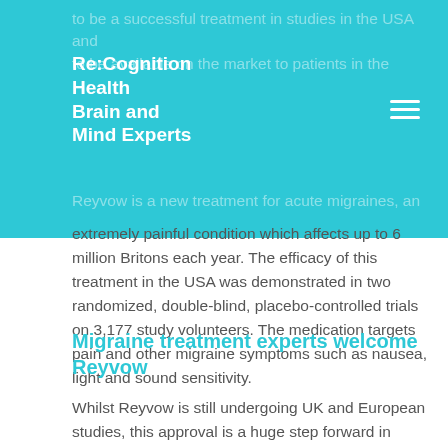Re:Cognition Health Brain and Mind Experts
to be a successful treatment in studies in the USA and to be available on the market to patients in the
Reyvow is a new treatment for acute migraines, an extremely painful condition which affects up to 6 million Britons each year. The efficacy of this treatment in the USA was demonstrated in two randomized, double-blind, placebo-controlled trials on 3,177 study volunteers. The medication targets pain and other migraine symptoms such as nausea, light and sound sensitivity.
Migraine treatment experts welcome Reyvow
Whilst Reyvow is still undergoing UK and European studies, this approval is a huge step forward in treating people with acute migraine.